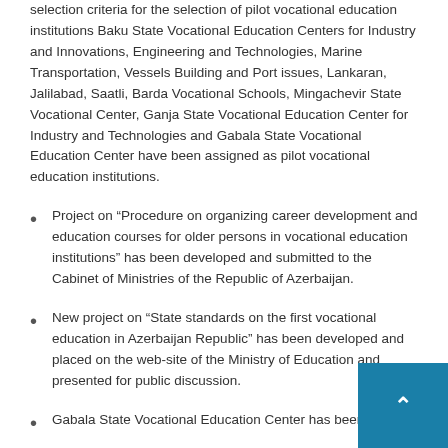selection criteria for the selection of pilot vocational education institutions Baku State Vocational Education Centers for Industry and Innovations, Engineering and Technologies, Marine Transportation, Vessels Building and Port issues, Lankaran, Jalilabad, Saatli, Barda Vocational Schools, Mingachevir State Vocational Center, Ganja State Vocational Education Center for Industry and Technologies and Gabala State Vocational Education Center have been assigned as pilot vocational education institutions.
Project on “Procedure on organizing career development and education courses for older persons in vocational education institutions” has been developed and submitted to the Cabinet of Ministries of the Republic of Azerbaijan.
New project on “State standards on the first vocational education in Azerbaijan Republic” has been developed and placed on the web-site of the Ministry of Education and presented for public discussion.
Gabala State Vocational Education Center has been dev…
Joint agreements on cooperation have been signed with employers: “Gilan Holding”, “Gilan Agricultural Group” LLC,